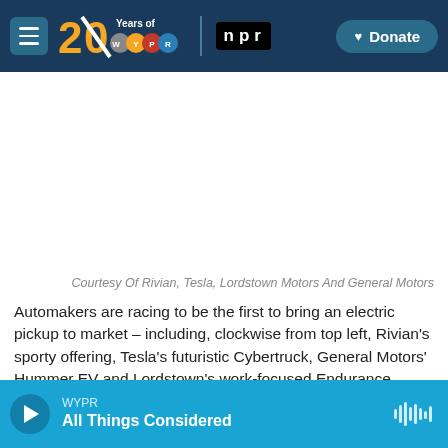WYPR 20 Years of WYPR | NPR | Donate
[Figure (photo): Collage of electric pickup trucks from Rivian, Tesla (Cybertruck), General Motors (Hummer EV), and Lordstown Motors (Endurance)]
Courtesy Of Rivian, Tesla, Lordstown Motors And General Motors
Automakers are racing to be the first to bring an electric pickup to market – including, clockwise from top left, Rivian's sporty offering, Tesla's futuristic Cybertruck, General Motors' Hummer EV and Lordstown's work-focused Endurance.
WYPR All Things Considered